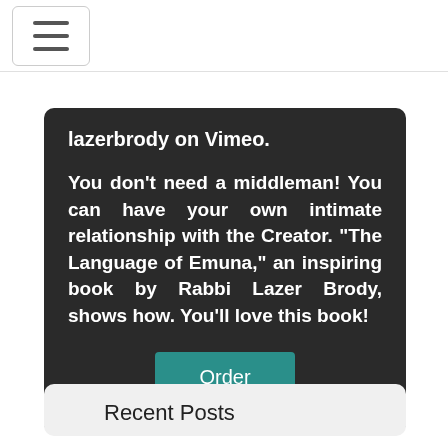[Figure (screenshot): Navigation bar with hamburger menu button (three horizontal lines) in top-left corner]
lazerbrody on Vimeo.
You don't need a middleman! You can have your own intimate relationship with the Creator. "The Language of Emuna," an inspiring book by Rabbi Lazer Brody, shows how. You'll love this book!
Order
Recent Posts